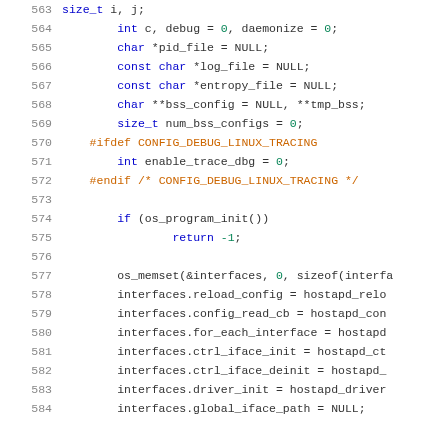[Figure (screenshot): C source code listing showing lines 563-584 of a C program (hostapd), with line numbers in gray, keywords in blue, preprocessor directives in orange, numeric literals in green, and identifiers in dark gray on white background.]